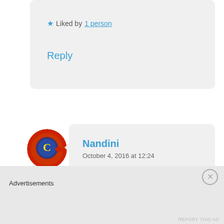★ Liked by 1 person
Reply
[Figure (photo): Avatar icon for Nandini - red circular icon with decorative design]
Nandini
October 4, 2016 at 12:24
Thank You so much Chris 🙂
★ Like
Reply
[Figure (photo): Avatar photo of a person with gray/dark hair]
Advertisements
REPORT THIS AD